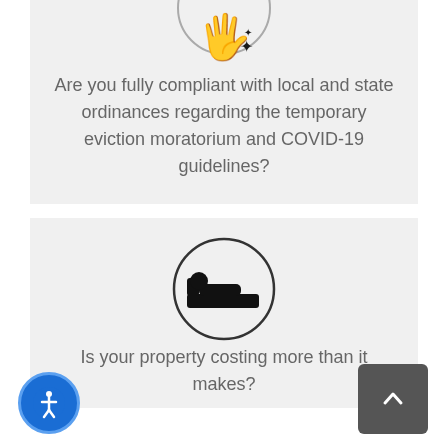[Figure (illustration): Hand with sparkles icon inside a circle, partially visible at top]
Are you fully compliant with local and state ordinances regarding the temporary eviction moratorium and COVID-19 guidelines?
[Figure (illustration): Bed/sleeping icon inside a circle]
Is your property costing more than it makes?